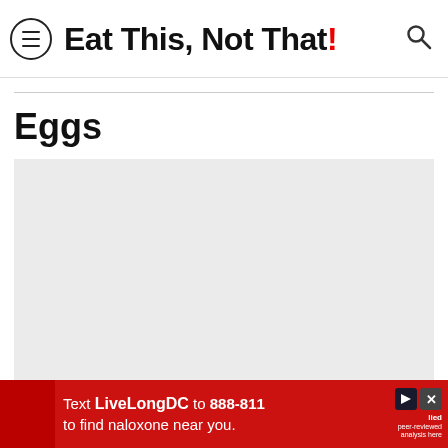Eat This, Not That!
Eggs
[Figure (photo): A large light gray image placeholder area below the Eggs heading]
[Figure (photo): Advertisement banner: Text LiveLongDC to 888-811 to find naloxone near you.]